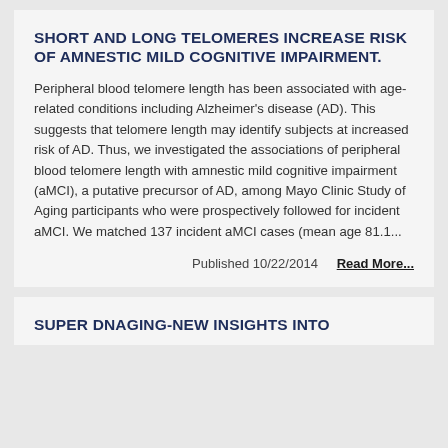SHORT AND LONG TELOMERES INCREASE RISK OF AMNESTIC MILD COGNITIVE IMPAIRMENT.
Peripheral blood telomere length has been associated with age-related conditions including Alzheimer's disease (AD). This suggests that telomere length may identify subjects at increased risk of AD. Thus, we investigated the associations of peripheral blood telomere length with amnestic mild cognitive impairment (aMCI), a putative precursor of AD, among Mayo Clinic Study of Aging participants who were prospectively followed for incident aMCI. We matched 137 incident aMCI cases (mean age 81.1...
Published 10/22/2014   Read More...
SUPER DNAGING-NEW INSIGHTS INTO